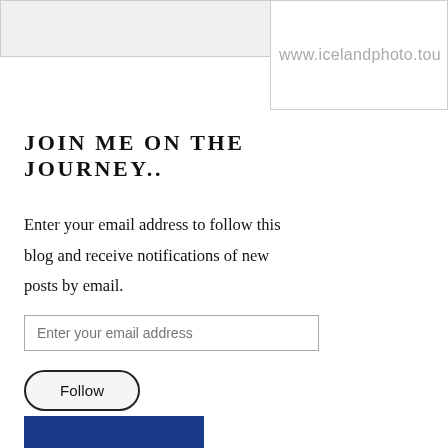[Figure (screenshot): Top left placeholder image, partially visible, light grey rectangle]
[Figure (screenshot): Top right box showing partial URL: www.icelandphoto.tou]
JOIN ME ON THE JOURNEY..
Enter your email address to follow this blog and receive notifications of new posts by email.
[Figure (screenshot): Email input field with placeholder text 'Enter your email address']
[Figure (screenshot): Follow button, rounded rectangle shape]
Join 28,805 other followers
[Figure (photo): Partial blue image at the bottom, likely a photo]